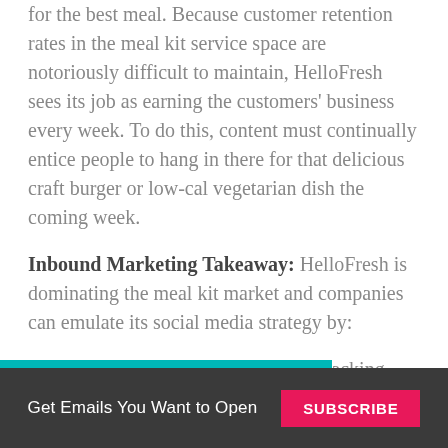for the best meal. Because customer retention rates in the meal kit service space are notoriously difficult to maintain, HelloFresh sees its job as earning the customers' business every week. To do this, content must continually entice people to hang in there for that delicious craft burger or low-cal vegetarian dish the coming week.
Inbound Marketing Takeaway: HelloFresh is dominating the meal kit market and companies can emulate its social media strategy by:
Investing in social listening and tracking audience feedback.
Get Emails You Want to Open  Subscribe